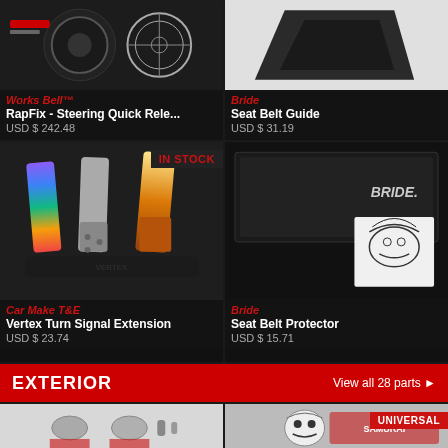[Figure (photo): Works Bell steering quick release hub and rotor parts on dark background]
Works Bell
RapFix - Steering Quick Rele...
USD $ 242.48
[Figure (photo): Bride seat belt guide, black triangular plastic piece on white background]
Bride
Seat Belt Guide
USD $ 31.19
[Figure (photo): Car Make T&E colored metal pedal extensions, rainbow and gold finish, on dark background, IN STOCK badge]
Car Make T&E
Vertex Turn Signal Extension
USD $ 23.74
[Figure (photo): Bride seat belt protector, black pad with Bride logo and samurai illustration]
Bride
Seat Belt Protector
USD $ 15.71
EXTERIOR
View all 28 parts ▶
[Figure (photo): Exterior part - metal hardware pieces on light background]
[Figure (photo): Exterior part - samurai skull logo sticker, UNIVERSAL badge]